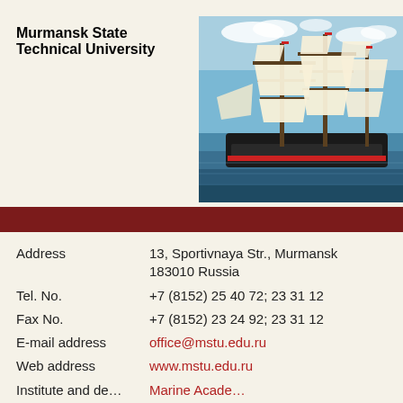Murmansk State Technical University
[Figure (photo): A tall sailing ship with white sails at sea under a blue sky]
Address: 13, Sportivnaya Str., Murmansk 183010 Russia
Tel. No.: +7 (8152) 25 40 72; 23 31 12
Fax No.: +7 (8152) 23 24 92; 23 31 12
E-mail address: office@mstu.edu.ru
Web address: www.mstu.edu.ru